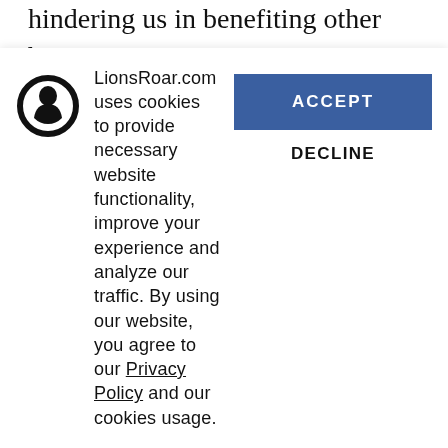hindering us in benefiting other beings.

Imagine that you think you're a bodhisattva who has buddhanature and that other sentient beings don't have buddhanature and therefore require your help. You think you have to somehow insert the buddha inside them. That's a very big mistake. It's what we call exaggeration or imputation. The
LionsRoar.com uses cookies to provide necessary website functionality, improve your experience and analyze our traffic. By using our website, you agree to our Privacy Policy and our cookies usage.
ACCEPT
DECLINE